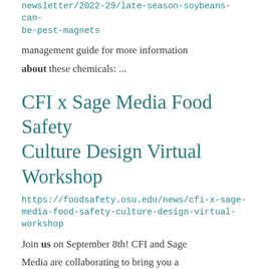newsletter/2022-29/late-season-soybeans-can-be-pest-magnets
management guide for more information about these chemicals: ...
CFI x Sage Media Food Safety Culture Design Virtual Workshop
https://foodsafety.osu.edu/news/cfi-x-sage-media-food-safety-culture-design-virtual-workshop
Join us on September 8th! CFI and Sage Media are collaborating to bring you a virtually curated ...
Survey of Landowner Experiences with Natural Gas Pipeline